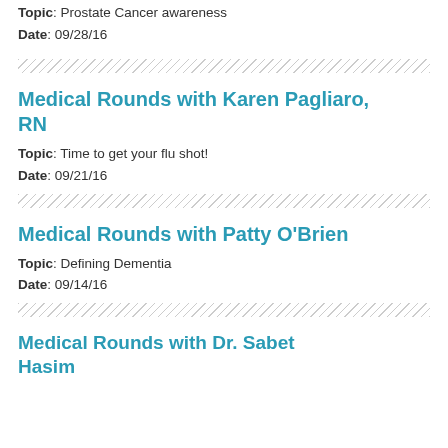Topic: Prostate Cancer awareness
Date: 09/28/16
Medical Rounds with Karen Pagliaro, RN
Topic: Time to get your flu shot!
Date: 09/21/16
Medical Rounds with Patty O'Brien
Topic: Defining Dementia
Date: 09/14/16
Medical Rounds with Dr. Sabet Hasim